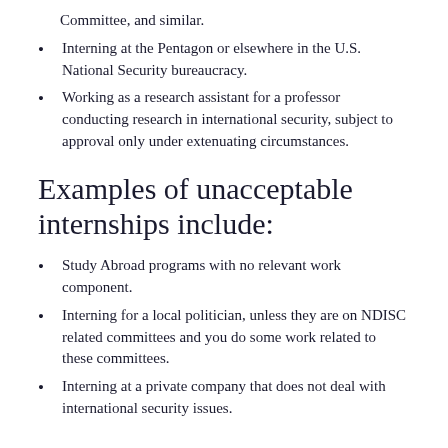Committee, and similar.
Interning at the Pentagon or elsewhere in the U.S. National Security bureaucracy.
Working as a research assistant for a professor conducting research in international security, subject to approval only under extenuating circumstances.
Examples of unacceptable internships include:
Study Abroad programs with no relevant work component.
Interning for a local politician, unless they are on NDISC related committees and you do some work related to these committees.
Interning at a private company that does not deal with international security issues.